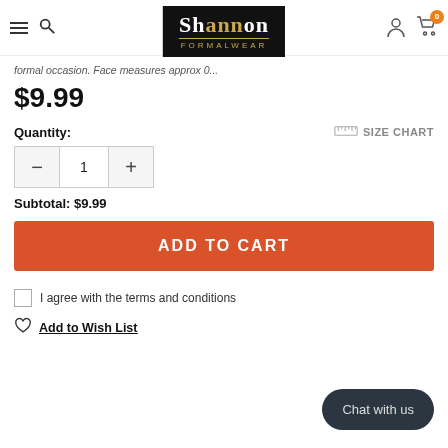Shannon Formalwear
formal occasion. Face measures approx 0...
$9.99
Quantity:
SIZE CHART
1
Subtotal: $9.99
ADD TO CART
I agree with the terms and conditions
Add to Wish List
Chat with us